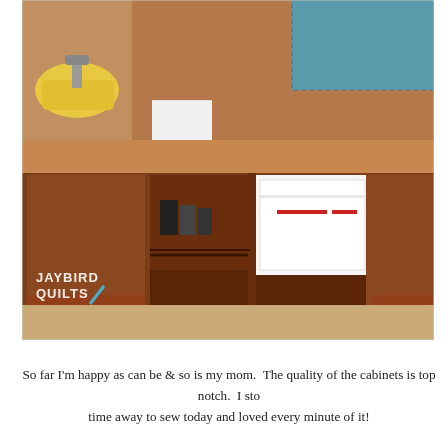[Figure (photo): A wooden sewing cabinet with open compartments showing a sewing machine stored inside, drawers on the sides, and a yellow clothes iron visible on the top left. The cabinet has a warm brown wood finish and is photographed in a sewing room. A JAYBIRD QUILTS watermark logo is visible in the lower left corner.]
So far I'm happy as can be & so is my mom.  The quality of the cabinets is top notch.  I sto time away to sew today and loved every minute of it!